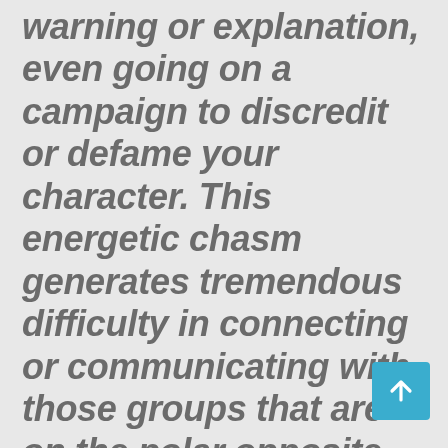warning or explanation, even going on a campaign to discredit or defame your character. This energetic chasm generates tremendous difficulty in connecting or communicating with those groups that are on the polar opposite or descending timeline, as they simply cannot see or perceive what those on the higher timeline are seeing and perceiving. Additionally, there are the harmful effects of the toxic substances being put in some of the injection lots along with the inorganic and artificial magnetic